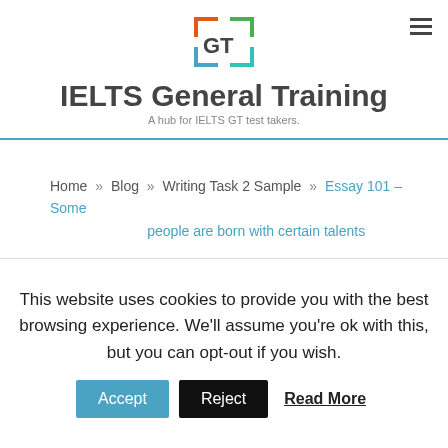[Figure (logo): GT logo with orange, green, and blue bracket design]
IELTS General Training
A hub for IELTS GT test takers.
Home » Blog » Writing Task 2 Sample » Essay 101 – Some people are born with certain talents
This website uses cookies to provide you with the best browsing experience. We'll assume you're ok with this, but you can opt-out if you wish.